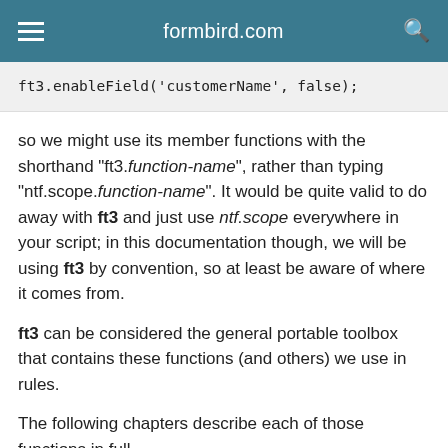formbird.com
ft3.enableField('customerName', false);
so we might use its member functions with the shorthand "ft3.function-name", rather than typing "ntf.scope.function-name". It would be quite valid to do away with ft3 and just use ntf.scope everywhere in your script; in this documentation though, we will be using ft3 by convention, so at least be aware of where it comes from.
ft3 can be considered the general portable toolbox that contains these functions (and others) we use in rules.
The following chapters describe each of those functions in full.
checkChecklistItem